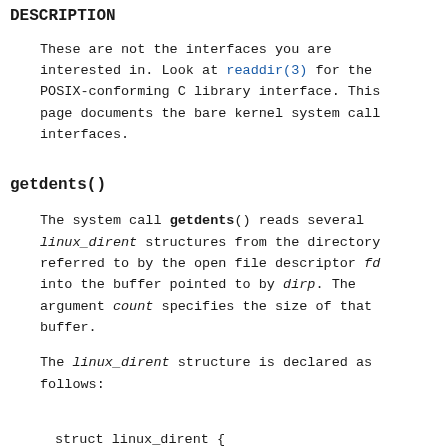DESCRIPTION
These are not the interfaces you are interested in. Look at readdir(3) for the POSIX-conforming C library interface. This page documents the bare kernel system call interfaces.
getdents()
The system call getdents() reads several linux_dirent structures from the directory referred to by the open file descriptor fd into the buffer pointed to by dirp. The argument count specifies the size of that buffer.
The linux_dirent structure is declared as follows:
struct linux_dirent {